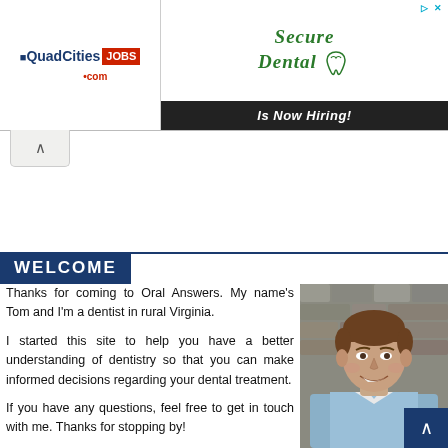[Figure (logo): QuadCities JOBS .com logo and Secure Dental Is Now Hiring advertisement banner]
WELCOME
Thanks for coming to Oral Answers. My name's Tom and I'm a dentist in rural Virginia.
I started this site to help you have a better understanding of dentistry so that you can make informed decisions regarding your dental treatment.
If you have any questions, feel free to get in touch with me. Thanks for stopping by!
[Figure (photo): Photo of Tom, a dentist smiling, wearing a light blue shirt, with stone wall background]